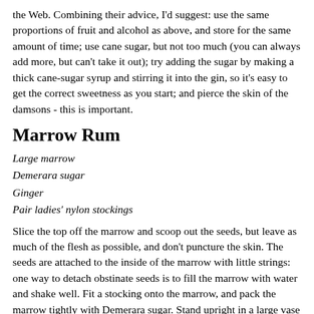the Web. Combining their advice, I'd suggest: use the same proportions of fruit and alcohol as above, and store for the same amount of time; use cane sugar, but not too much (you can always add more, but can't take it out); try adding the sugar by making a thick cane-sugar syrup and stirring it into the gin, so it's easy to get the correct sweetness as you start; and pierce the skin of the damsons - this is important.
Marrow Rum
Large marrow
Demerara sugar
Ginger
Pair ladies' nylon stockings
Slice the top off the marrow and scoop out the seeds, but leave as much of the flesh as possible, and don't puncture the skin. The seeds are attached to the inside of the marrow with little strings: one way to detach obstinate seeds is to fill the marrow with water and shake well. Fit a stocking onto the marrow, and pack the marrow tightly with Demerara sugar. Stand upright in a large vase or similar and leave for a day. Osmosis will draw fluid from the marrow into the sugar, dissolving some and leaving a gap below the end of the marrow. Add a teaspoon of ginger (finely chopped fresh ginger root if available, otherwise dried ginger) and pack